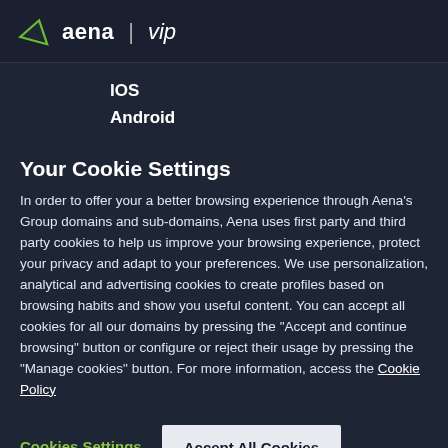[Figure (logo): Aena VIP logo with green arrow/star icon, text 'aena | vip']
IOS
Android
Your Cookie Settings
In order to offer your a better browsing experience through Aena's Group domains and sub-domains, Aena uses first party and third party cookies to help us improve your browsing experience, protect your privacy and adapt to your preferences. We use personalization, analytical and advertising cookies to create profiles based on browsing habits and show you useful content. You can accept all cookies for all our domains by pressing the "Accept and continue browsing" button or configure or reject their usage by pressing the "Manage cookies" button. For more information, access the Cookie Policy
Cookies Settings
Accept All Cookies